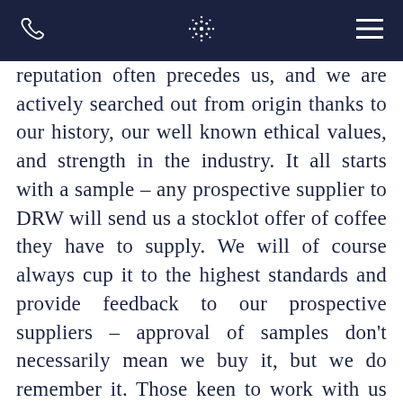[DRW logo and navigation]
reputation often precedes us, and we are actively searched out from origin thanks to our history, our well known ethical values, and strength in the industry. It all starts with a sample – any prospective supplier to DRW will send us a stocklot offer of coffee they have to supply. We will of course always cup it to the highest standards and provide feedback to our prospective suppliers – approval of samples don't necessarily mean we buy it, but we do remember it. Those keen to work with us tend often to send multiple samples, and once we have confidence in the level of quality and commitment being offered, we make a primary purchase. Its worth noting though that we look at new suppliers only for coffees that cannot be sourced through our existing supply chain, perhaps our suppliers do not offer certain grades,